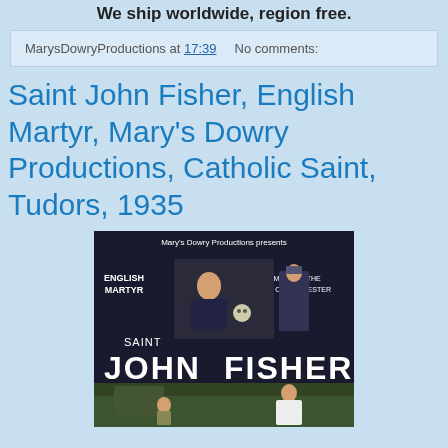We ship worldwide, region free.
MarysDowryProductions at 17:39    No comments:
Saint John Fisher, English Martyr, Mary's Dowry Productions, Catholic Saint, Tudors, 1935
[Figure (photo): DVD cover for Saint John Fisher film by Mary's Dowry Productions. Shows title text 'SAINT JOHN FISHER' in large letters, with 'ENGLISH MARTYR' on left, 'A FILM ABOUT THE BISHOP OF ROCHESTER' on right, and film scenes including actors in period costume.]